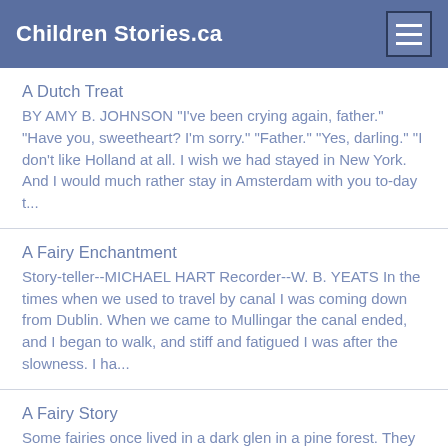Children Stories.ca
A Dutch Treat
BY AMY B. JOHNSON "I've been crying again, father." "Have you, sweetheart? I'm sorry." "Father." "Yes, darling." "I don't like Holland at all. I wish we had stayed in New York. And I would much rather stay in Amsterdam with you to-day t...
A Fairy Enchantment
Story-teller--MICHAEL HART Recorder--W. B. YEATS In the times when we used to travel by canal I was coming down from Dublin. When we came to Mullingar the canal ended, and I began to walk, and stiff and fatigued I was after the slowness. I ha...
A Fairy Story
Some fairies once lived in a dark glen in a pine forest. They were real fairies, many of them not higher than a pin. Their greatest treasure was a magic cap which...